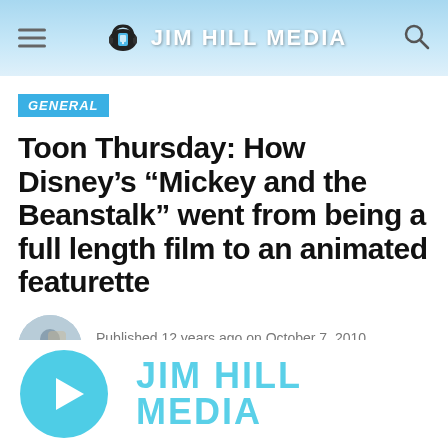Jim Hill Media
GENERAL
Toon Thursday: How Disney’s “Mickey and the Beanstalk” went from being a full length film to an animated featurette
Published 12 years ago on October 7, 2010
By Jim Hill
[Figure (logo): Jim Hill Media podcast logo with play button and brand name]